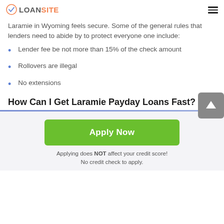LOANSITE
Laramie in Wyoming feels secure. Some of the general rules that lenders need to abide by to protect everyone one include:
Lender fee be not more than 15% of the check amount
Rollovers are illegal
No extensions
How Can I Get Laramie Payday Loans Fast?
[Figure (other): Green Apply Now button with scroll-up arrow button overlay]
Applying does NOT affect your credit score! No credit check to apply.